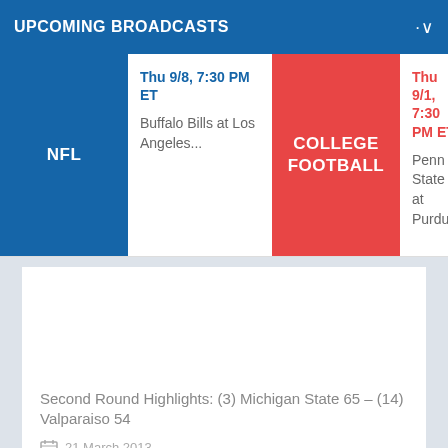UPCOMING BROADCASTS
| Sport | Schedule 1 | Sport 2 | Schedule 2 |
| --- | --- | --- | --- |
| NFL | Thu 9/8, 7:30 PM ET
Buffalo Bills at Los Angeles... | COLLEGE FOOTBALL | Thu 9/1, 7:30 PM ET
Penn State at Purdue |
[Figure (photo): Blank white image placeholder area]
Second Round Highlights: (3) Michigan State 65 – (14) Valparaiso 54
21 March 2013
AUBURN HILLS, MI – Playing in their home state of Michigan, the